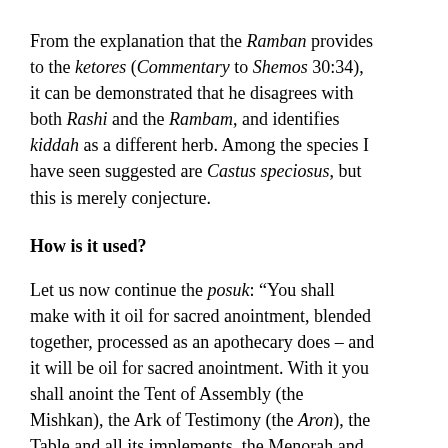From the explanation that the Ramban provides to the ketores (Commentary to Shemos 30:34), it can be demonstrated that he disagrees with both Rashi and the Rambam, and identifies kiddah as a different herb. Among the species I have seen suggested are Castus speciosus, but this is merely conjecture.
How is it used?
Let us now continue the posuk: “You shall make with it oil for sacred anointment, blended together, processed as an apothecary does – and it will be oil for sacred anointment. With it you shall anoint the Tent of Assembly (the Mishkan), the Ark of Testimony (the Aron), the Table and all its implements, the Menorah and all its implements, the incense altar, the olah altar and all its implements, the laver and its stand… And you shall